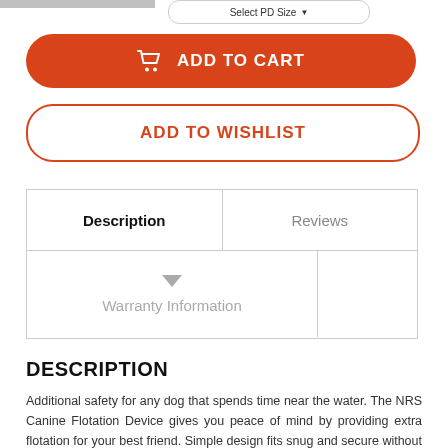[Figure (screenshot): Select PD Size dropdown button at top of page]
[Figure (screenshot): Orange Add to Cart button with shopping cart icon]
[Figure (screenshot): Add to Wishlist button with orange border]
| Description | Reviews |
| --- | --- |
| Warranty Information |  |
DESCRIPTION
Additional safety for any dog that spends time near the water. The NRS Canine Flotation Device gives you peace of mind by providing extra flotation for your best friend. Simple design fits snug and secure without interfering with the dog's normal activities. This dog